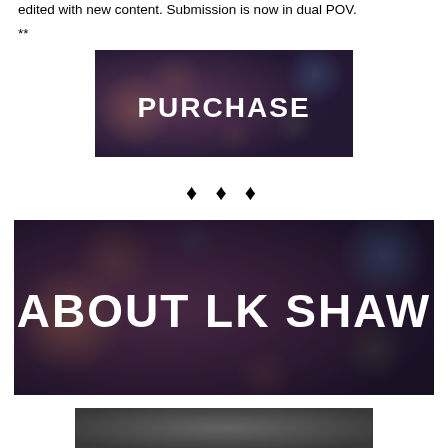edited with new content. Submission is now in dual POV.
**
[Figure (illustration): Dark bokeh background banner with white bold text reading PURCHASE]
♦ ♦ ♦
[Figure (illustration): Dark bokeh background banner with white bold text reading ABOUT LK SHAW]
[Figure (illustration): Partial bottom banner with grey/dark background, partially visible]